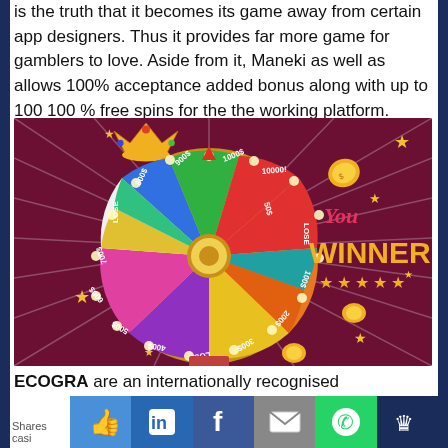is the truth that it becomes its game away from certain app designers. Thus it provides far more game for gamblers to love. Aside from it, Maneki as well as allows 100% acceptance added bonus along with up to 100 100 % free spins for the the working platform.
[Figure (illustration): A colorful casino fortune wheel with segments labeled with dollar amounts ($100, $200, $300, $400, $500, $600, $700, $800, $900, $1000, $10000, $50) and LOSE segments, decorated with gold coins and stars. Text on the right reads 'You WINNER' with five stars, on a dark purple background with light rays.]
ECOGRA are an internationally recognised independent governing department for fair online betting, and that is one of the finest labels with regards to leading world watc
Shares  casi